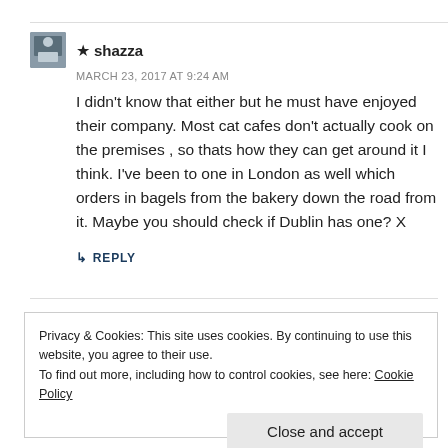★ shazza
MARCH 23, 2017 AT 9:24 AM
I didn't know that either but he must have enjoyed their company. Most cat cafes don't actually cook on the premises , so thats how they can get around it I think. I've been to one in London as well which orders in bagels from the bakery down the road from it. Maybe you should check if Dublin has one? X
↳ REPLY
Privacy & Cookies: This site uses cookies. By continuing to use this website, you agree to their use.
To find out more, including how to control cookies, see here: Cookie Policy
Close and accept